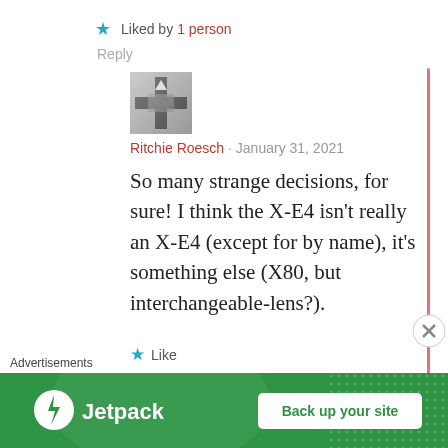★ Liked by 1 person
Reply
[Figure (photo): User avatar photo: grayscale image of a crossroads/road sign]
Ritchie Roesch · January 31, 2021
So many strange decisions, for sure! I think the X-E4 isn't really an X-E4 (except for by name), it's something else (X80, but interchangeable-lens?).
★ Like
Reply
Advertisements
[Figure (logo): Jetpack advertisement banner with green background, Jetpack logo on left and 'Back up your site' button on right]